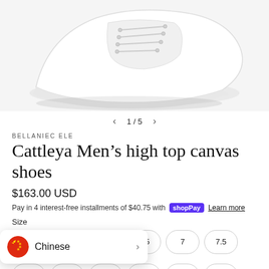[Figure (photo): White high-top canvas sneaker shoe photographed from above on white background]
1 / 5
BELLANIECELE
Cattleya Men's high top canvas shoes
$163.00 USD
Pay in 4 interest-free installments of $40.75 with Shop Pay Learn more
Size
6.5  7  7.5
8  8.5  9  9.5  10  10.5
Chinese